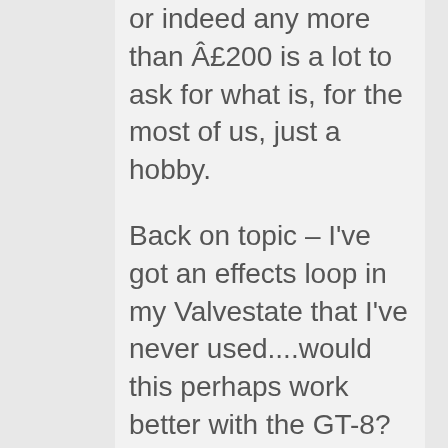or indeed any more than £200 is a lot to ask for what is, for the most of us, just a hobby.
Back on topic – I've got an effects loop in my Valvestate that I've never used....would this perhaps work better with the GT-8?
[If you'd looked around on the site, checked the features section